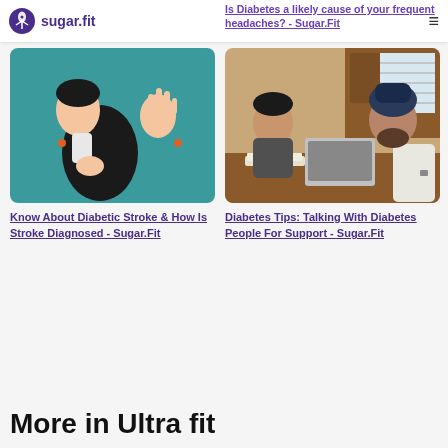sugar.fit
The Power of Knowledge in Diabetes Self Care
Is Diabetes a likely cause of your frequent headaches? - Sugar.Fit
[Figure (illustration): Illustration of a person in a black suit grabbing their chest and holding up one hand, on a teal background — depicting diabetic stroke symptoms]
[Figure (photo): Photo of two people, a woman and a man wearing a turban, sitting at a table with a laptop, appearing to have a conversation about diabetes support]
Know About Diabetic Stroke & How Is Stroke Diagnosed - Sugar.Fit
Diabetes Tips: Talking With Diabetes People For Support - Sugar.Fit
More in Ultra fit